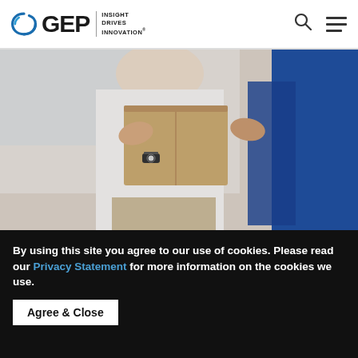GEP — INSIGHT DRIVES INNOVATION
[Figure (photo): Two people exchanging a cardboard package — one in a white shirt with a watch, the other in a blue uniform, from a delivery/logistics context.]
WILL THE DIRECT-TO-CONSUMER MODEL
By using this site you agree to our use of cookies. Please read our Privacy Statement for more information on the cookies we use.
Agree & Close